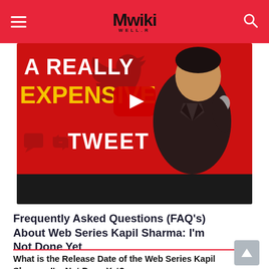Mwiki
[Figure (screenshot): Video thumbnail showing a man holding a microphone on a red background with text 'A REALLY EXPENSIVE TWEET' and a YouTube play button overlay]
Frequently Asked Questions (FAQ's) About Web Series Kapil Sharma: I'm Not Done Yet
What is the Release Date of the Web Series Kapil Sharma: I'm Not Done Yet?